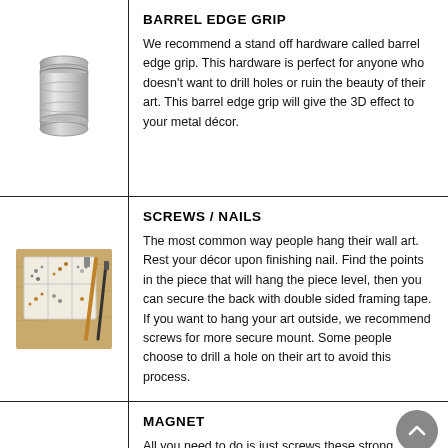[Figure (photo): A cylindrical metal barrel edge grip standoff hardware piece, silver/brushed metal finish]
BARREL EDGE GRIP
We recommend a stand off hardware called barrel edge grip. This hardware is perfect for anyone who doesn't want to drill holes or ruin the beauty of their art. This barrel edge grip will give the 3D effect to your metal décor.
[Figure (photo): A wooden compartment box with assorted screws and nails, with two screwdrivers visible, on a wooden surface]
SCREWS / NAILS
The most common way people hang their wall art. Rest your décor upon finishing nail. Find the points in the piece that will hang the piece level, then you can secure the back with double sided framing tape. If you want to hang your art outside, we recommend screws for more secure mount. Some people choose to drill a hole on their art to avoid this process.
[Figure (photo): Partial view of a round magnet, light gray, partially visible at bottom of page]
MAGNET
All you need to do is just screws these strong magnet into the wall or other surface where you